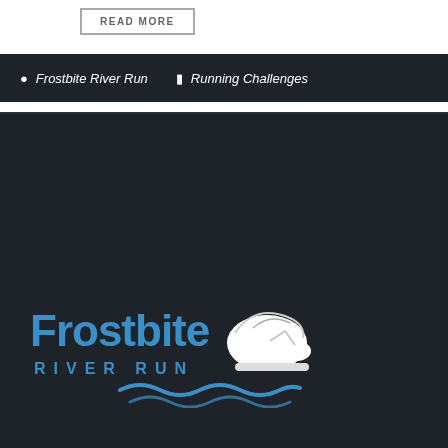READ MORE
Frostbite River Run   Running Challenges
[Figure (logo): Frostbite River Run logo with blue text and a running shoe graphic with blue swoosh waves]
RECENT POSTS